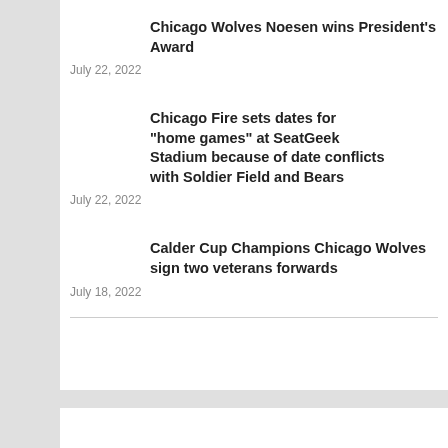Chicago Wolves Noesen wins President's Award
July 22, 2022
Chicago Fire sets dates for “home games” at SeatGeek Stadium because of date conflicts with Soldier Field and Bears
July 22, 2022
Calder Cup Champions Chicago Wolves sign two veterans forwards
July 18, 2022